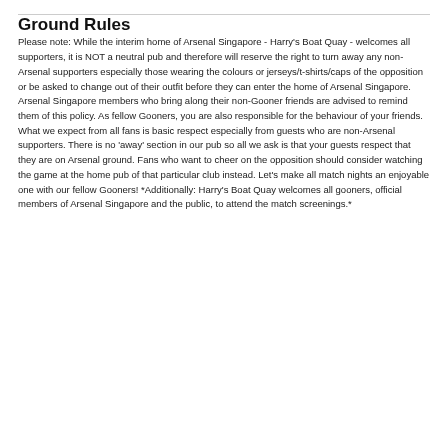Ground Rules
Please note: While the interim home of Arsenal Singapore - Harry's Boat Quay - welcomes all supporters, it is NOT a neutral pub and therefore will reserve the right to turn away any non-Arsenal supporters especially those wearing the colours or jerseys/t-shirts/caps of the opposition or be asked to change out of their outfit before they can enter the home of Arsenal Singapore. Arsenal Singapore members who bring along their non-Gooner friends are advised to remind them of this policy. As fellow Gooners, you are also responsible for the behaviour of your friends. What we expect from all fans is basic respect especially from guests who are non-Arsenal supporters. There is no 'away' section in our pub so all we ask is that your guests respect that they are on Arsenal ground. Fans who want to cheer on the opposition should consider watching the game at the home pub of that particular club instead. Let's make all match nights an enjoyable one with our fellow Gooners! *Additionally: Harry's Boat Quay welcomes all gooners, official members of Arsenal Singapore and the public, to attend the match screenings.*